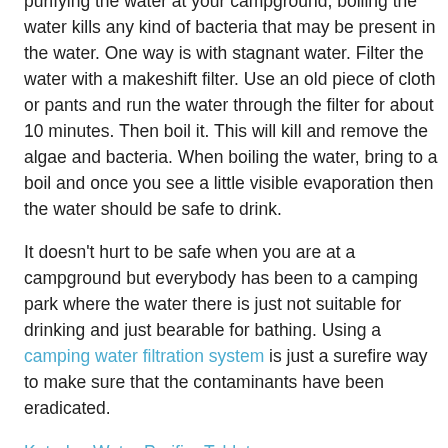good for drinking. Here are a few tips and pointers on how to purify water when you are enjoying a camping adventure.
The most popular way to purify water is to boil it. If you have access to a stream or want to be safe by purifying the water at your campground, boiling the water kills any kind of bacteria that may be present in the water. One way is with stagnant water. Filter the water with a makeshift filter. Use an old piece of cloth or pants and run the water through the filter for about 10 minutes. Then boil it. This will kill and remove the algae and bacteria. When boiling the water, bring to a boil and once you see a little visible evaporation then the water should be safe to drink.
It doesn't hurt to be safe when you are at a campground but everybody has been to a camping park where the water there is just not suitable for drinking and just bearable for bathing. Using a camping water filtration system is just a surefire way to make sure that the contaminants have been eradicated.
Katadyn Water Purifier Tablets